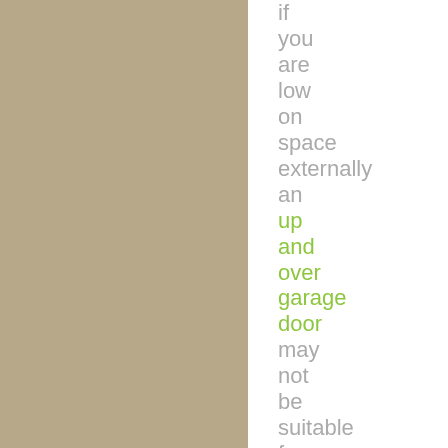[Figure (photo): Tan/beige colored surface, likely a garage door or wall panel, taking up the left half of the page.]
if you are low on space externally an up and over garage door may not be suitable for